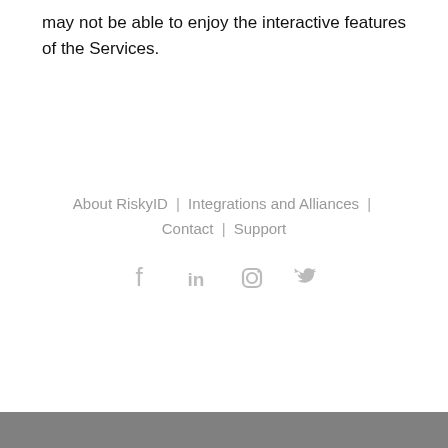may not be able to enjoy the interactive features of the Services.
About RiskyID | Integrations and Alliances | Contact | Support
[Figure (other): Social media icons: Facebook, LinkedIn, Instagram, Twitter in gray]
Gray bar at bottom of page